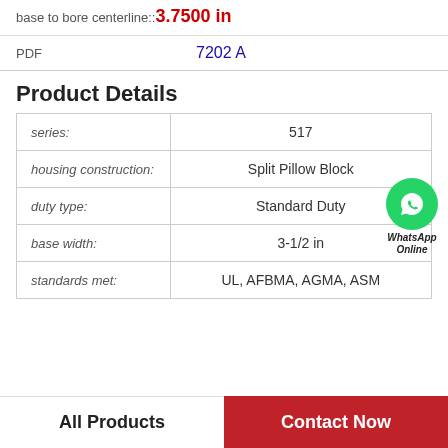base to bore centerline::3.7500 in
PDF   7202 A
Product Details
|  |  |
| --- | --- |
| series: | 517 |
| housing construction: | Split Pillow Block |
| duty type: | Standard Duty |
| base width: | 3-1/2 in |
| standards met: | UL, AFBMA, AGMA, ASM |
All Products
Contact Now